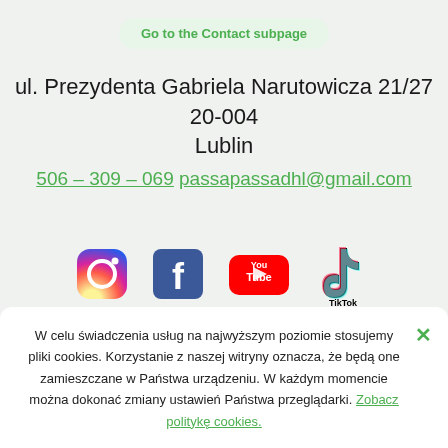Go to the Contact subpage
ul. Prezydenta Gabriela Narutowicza 21/27 20-004 Lublin
506 – 309 – 069  passapassadhl@gmail.com
[Figure (logo): Social media icons: Instagram, Facebook, YouTube, TikTok]
W celu świadczenia usług na najwyższym poziomie stosujemy pliki cookies. Korzystanie z naszej witryny oznacza, że będą one zamieszczane w Państwa urządzeniu. W każdym momencie można dokonać zmiany ustawień Państwa przeglądarki. Zobacz politykę cookies.